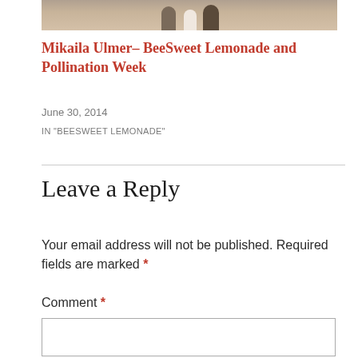[Figure (photo): Partial view of a photo showing figures/people outdoors, cropped at top of page]
Mikaila Ulmer– BeeSweet Lemonade and Pollination Week
June 30, 2014
IN "BEESWEET LEMONADE"
Leave a Reply
Your email address will not be published. Required fields are marked *
Comment *